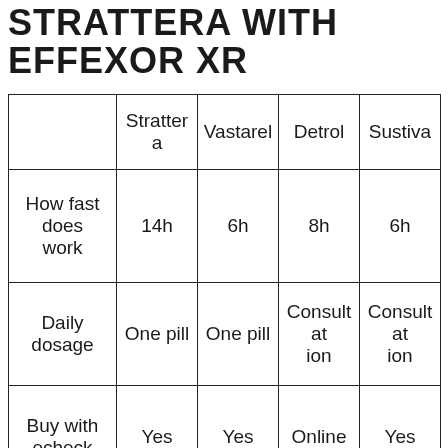STRATTERA WITH EFFEXOR XR
|  | Strattera | Vastarel | Detrol | Sustiva |
| --- | --- | --- | --- | --- |
| How fast does work | 14h | 6h | 8h | 6h |
| Daily dosage | One pill | One pill | Consultation | Consultation |
| Buy with echeck | Yes | Yes | Online | Yes |
| C... | A... |  |  | A... |